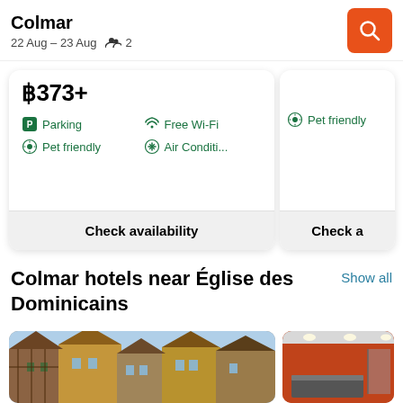Colmar
22 Aug – 23 Aug   👥 2
฿373+
Parking
Free Wi-Fi
Pet friendly
Air Conditi...
Check availability
Pet friendly
Check a
Colmar hotels near Église des Dominicains
Show all
[Figure (photo): Half-timbered houses in Colmar, France]
[Figure (photo): Hotel interior with orange walls and reception desk]